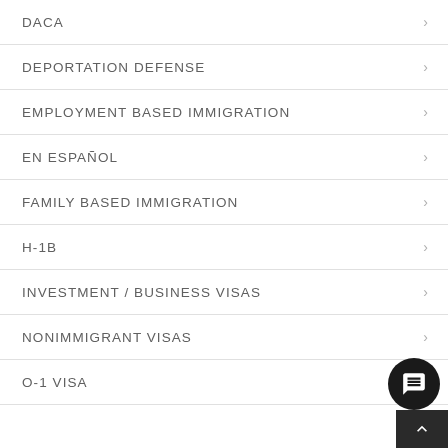DACA
DEPORTATION DEFENSE
EMPLOYMENT BASED IMMIGRATION
EN ESPAÑOL
FAMILY BASED IMMIGRATION
H-1B
INVESTMENT / BUSINESS VISAS
NONIMMIGRANT VISAS
O-1 VISA